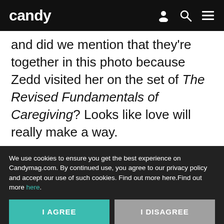candy
and did we mention that they're together in this photo because Zedd visited her on the set of The Revised Fundamentals of Caregiving? Looks like love will really make a way.
Read on App
We use cookies to ensure you get the best experience on Candymag.com. By continued use, you agree to our privacy policy and accept our use of such cookies. Find out more here.Find out more here.
I AGREE
I DISAGREE